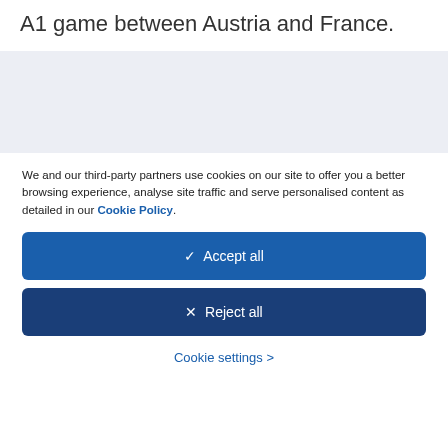A1 game between Austria and France.
[Figure (other): Grey placeholder box, likely an advertisement or image area]
We and our third-party partners use cookies on our site to offer you a better browsing experience, analyse site traffic and serve personalised content as detailed in our Cookie Policy.
✓  Accept all
✕  Reject all
Cookie settings >